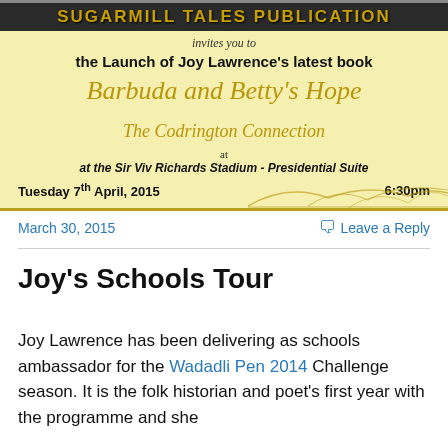[Figure (illustration): Invitation banner for the launch of Joy Lawrence's book 'Barbuda and Betty's Hope: The Codrington Connection' at the Sir Viv Richards Stadium Presidential Suite, Tuesday 7th April 2015 at 6:30pm, published by Sugarmill Tales Publication]
March 30, 2015
Leave a Reply
Joy's Schools Tour
Joy Lawrence has been delivering as schools ambassador for the Wadadli Pen 2014 Challenge season. It is the folk historian and poet's first year with the programme and she